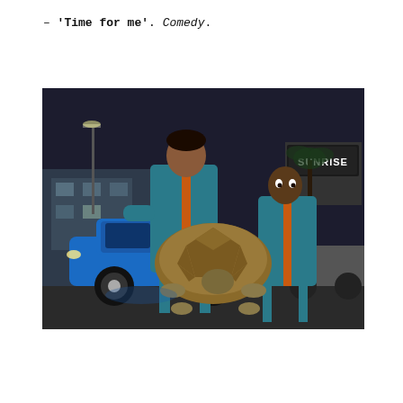– 'Time for me'. Comedy.
[Figure (photo): Two men in matching teal and orange track suits crouching over a large tortoise on a street at night, with a blue sports car in the background and a 'Sunrise' sign illuminated in the distance.]